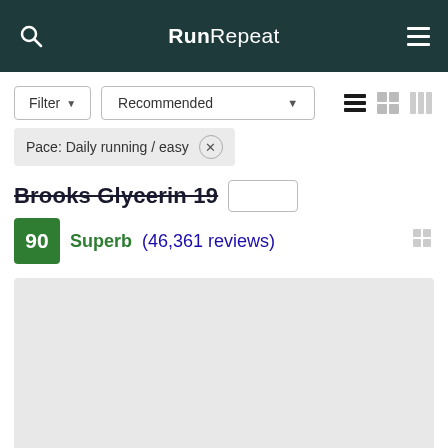RunRepeat
Filter ▾   Recommended ▾
Pace: Daily running / easy  ×
Brooks Glycerin 19
90  Superb (46,361 reviews)
[Figure (other): Gray placeholder image area for running shoe product]
[Figure (other): Bottom gray card partial view]